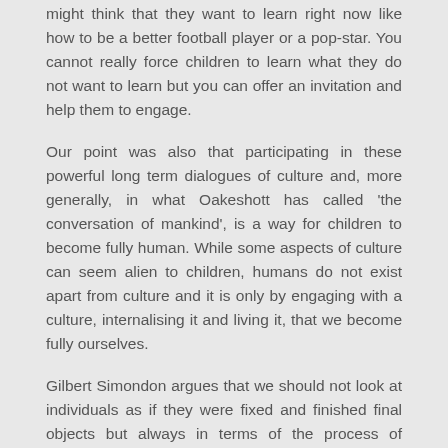might think that they want to learn right now like how to be a better football player or a pop-star. You cannot really force children to learn what they do not want to learn but you can offer an invitation and help them to engage.
Our point was also that participating in these powerful long term dialogues of culture and, more generally, in what Oakeshott has called 'the conversation of mankind', is a way for children to become fully human. While some aspects of culture can seem alien to children, humans do not exist apart from culture and it is only by engaging with a culture, internalising it and living it, that we become fully ourselves.
Gilbert Simondon argues that we should not look at individuals as if they were fixed and finished final objects but always in terms of the process of individuation that formed them and that continues to form them. His focus on individuation reveals a continuity between nature and culture. Natural processes of individuation, like the way that individual snow-flake crystals